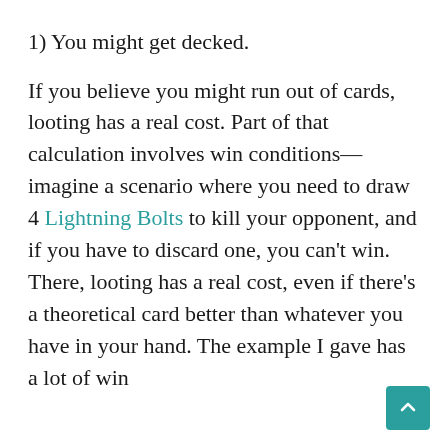1) You might get decked.
If you believe you might run out of cards, looting has a real cost. Part of that calculation involves win conditions—imagine a scenario where you need to draw 4 Lightning Bolts to kill your opponent, and if you have to discard one, you can't win. There, looting has a real cost, even if there's a theoretical card better than whatever you have in your hand. The example I gave has a lot of win conditions, but this isn't always the case.